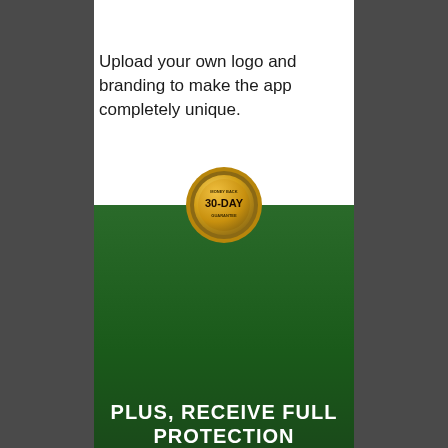Upload your own logo and branding to make the app completely unique.
[Figure (illustration): Gold badge/seal with text '30-DAY' and additional small text, on a green background section]
PLUS, RECEIVE FULL PROTECTION